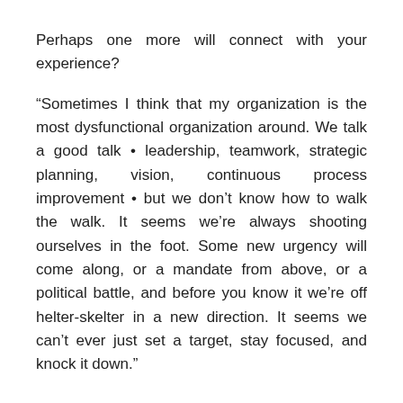Perhaps one more will connect with your experience?
“Sometimes I think that my organization is the most dysfunctional organization around. We talk a good talk • leadership, teamwork, strategic planning, vision, continuous process improvement • but we don’t know how to walk the walk. It seems we’re always shooting ourselves in the foot. Some new urgency will come along, or a mandate from above, or a political battle, and before you know it we’re off helter-skelter in a new direction. It seems we can’t ever just set a target, stay focused, and knock it down.”